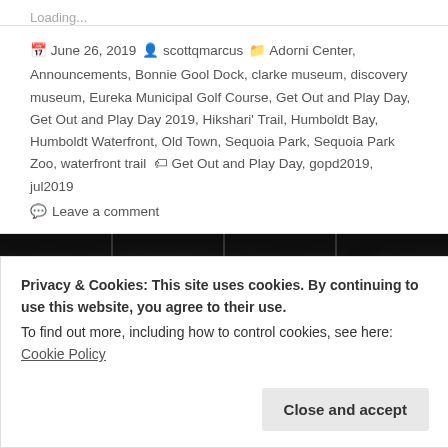Loading...
June 26, 2019  scottqmarcus  Adorni Center, Announcements, Bonnie Gool Dock, clarke museum, discovery museum, Eureka Municipal Golf Course, Get Out and Play Day, Get Out and Play Day 2019, Hikshari' Trail, Humboldt Bay, Humboldt Waterfront, Old Town, Sequoia Park, Sequoia Park Zoo, waterfront trail  Get Out and Play Day, gopd2019, jul2019  Leave a comment
[Figure (photo): Neon sign spelling DO SOMETHING GREAT on dark background]
Privacy & Cookies: This site uses cookies. By continuing to use this website, you agree to their use.
To find out more, including how to control cookies, see here: Cookie Policy
Close and accept